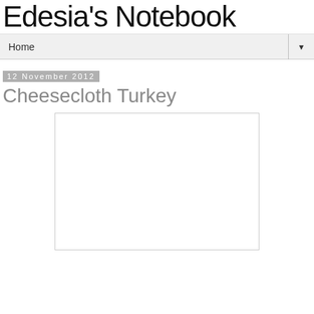Edesia's Notebook
Home
12 November 2012
Cheesecloth Turkey
[Figure (photo): Blank white image placeholder with light gray border]